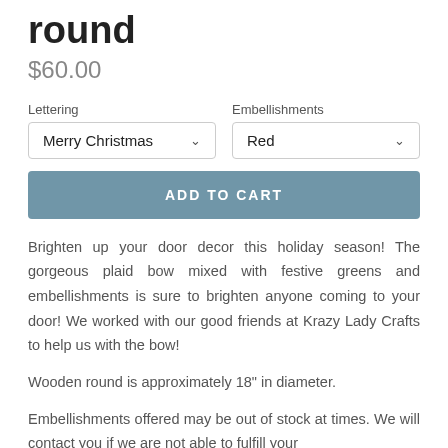round
$60.00
Lettering: Merry Christmas | Embellishments: Red
ADD TO CART
Brighten up your door decor this holiday season! The gorgeous plaid bow mixed with festive greens and embellishments is sure to brighten anyone coming to your door! We worked with our good friends at Krazy Lady Crafts to help us with the bow!
Wooden round is approximately 18" in diameter.
Embellishments offered may be out of stock at times. We will contact you if we are not able to fulfill your